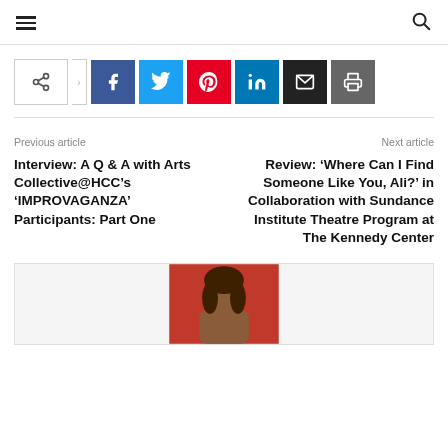Navigation menu and search
[Figure (screenshot): Social sharing buttons: share (native), Facebook, Twitter, Pinterest, LinkedIn, Email, Print]
Previous article
Next article
Interview: A Q & A with Arts Collective@HCC’s ‘IMPROVAGANZA’ Participants: Part One
Review: ‘Where Can I Find Someone Like You, Ali?’ in Collaboration with Sundance Institute Theatre Program at The Kennedy Center
[Figure (photo): Headshot photo of a man with long dark hair against a rust/orange background, smiling]